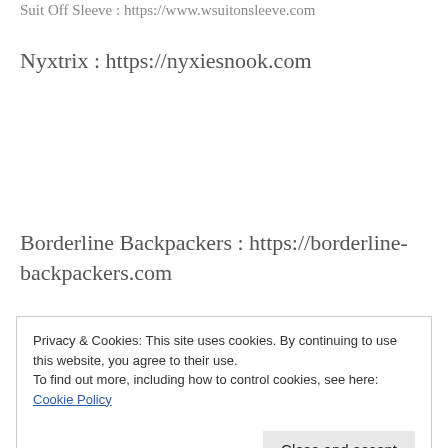Suit Off Sleeve : https://www.wsuitonsleeve.com
Nyxtrix : https://nyxiesnook.com
Borderline Backpackers : https://borderline-backpackers.com
Privacy & Cookies: This site uses cookies. By continuing to use this website, you agree to their use.
To find out more, including how to control cookies, see here: Cookie Policy
Close and accept